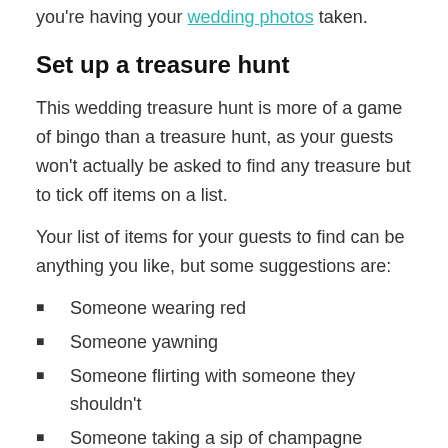you're having your wedding photos taken.
Set up a treasure hunt
This wedding treasure hunt is more of a game of bingo than a treasure hunt, as your guests won't actually be asked to find any treasure but to tick off items on a list.
Your list of items for your guests to find can be anything you like, but some suggestions are:
Someone wearing red
Someone yawning
Someone flirting with someone they shouldn't
Someone taking a sip of champagne
Someone drunk